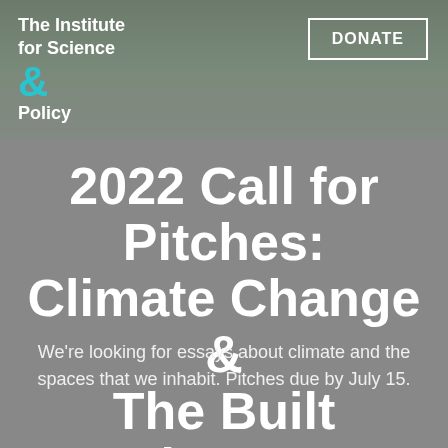The Institute for Science & Policy
DONATE
2022 Call for Pitches: Climate Change & The Built Environment
We're looking for essays about climate and the spaces that we inhabit. Pitches due by July 15.